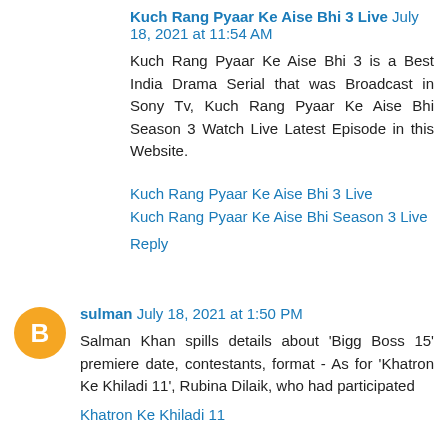Kuch Rang Pyaar Ke Aise Bhi 3 Live July 18, 2021 at 11:54 AM
Kuch Rang Pyaar Ke Aise Bhi 3 is a Best India Drama Serial that was Broadcast in Sony Tv,
Kuch Rang Pyaar Ke Aise Bhi Season 3 Watch Live Latest Episode in this Website.
Kuch Rang Pyaar Ke Aise Bhi 3 Live
Kuch Rang Pyaar Ke Aise Bhi Season 3 Live
Reply
sulman July 18, 2021 at 1:50 PM
Salman Khan spills details about 'Bigg Boss 15' premiere date, contestants,
format - As for 'Khatron Ke Khiladi 11', Rubina Dilaik, who had participated
Khatron Ke Khiladi 11